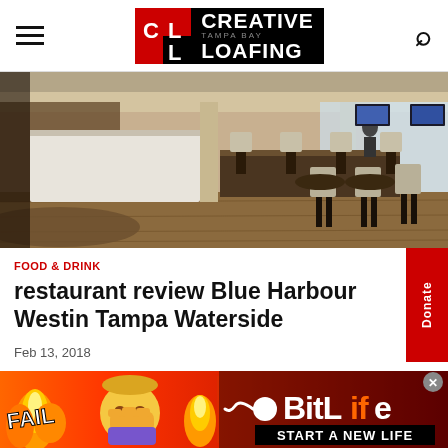Creative Loafing Tampa Bay
[Figure (photo): Interior of Blue Harbour restaurant at Westin Tampa Waterside — bar seating, high chairs, wooden floors, large windows]
FOOD & DRINK
restaurant review Blue Harbour Westin Tampa Waterside
Feb 13, 2018
[Figure (illustration): BitLife advertisement banner — fire emoji, facepalm emoji, FAIL text, sperm logo, BitLife logo, START A NEW LIFE tagline]